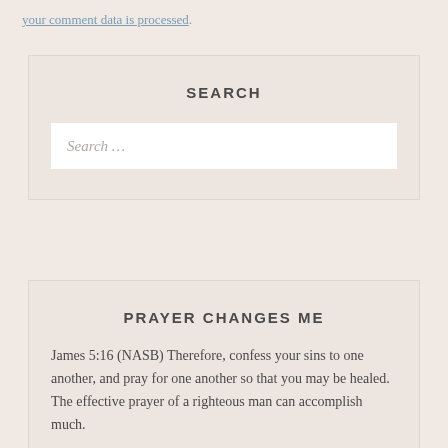your comment data is processed.
SEARCH
Search …
PRAYER CHANGES ME
James 5:16 (NASB) Therefore, confess your sins to one another, and pray for one another so that you may be healed. The effective prayer of a righteous man can accomplish much.